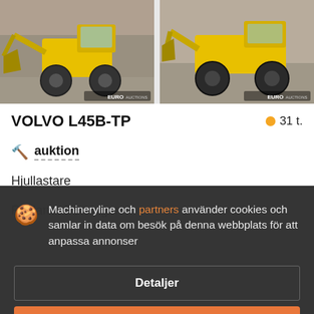[Figure (photo): Two Volvo wheel loaders photographed outdoors, each with Euro Auctions watermark in the bottom right corner. Left image shows front/bucket view, right image shows side view.]
VOLVO L45B-TP
31 t.
auktion
Hjullastare
Rykland, Dennagen
Machineryline och partners använder cookies och samlar in data om besök på denna webbplats för att anpassa annonser
Detaljer
Acceptera och stäng